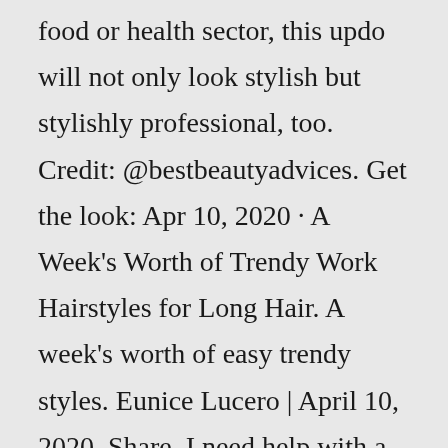food or health sector, this updo will not only look stylish but stylishly professional, too. Credit: @bestbeautyadvices. Get the look: Apr 10, 2020 · A Week's Worth of Trendy Work Hairstyles for Long Hair. A week's worth of easy trendy styles. Eunice Lucero | April 10, 2020. Share. I need help with a hairstyle for work. Help. I work as a correctional officer, and I have to have my hair put up in some fashion that would